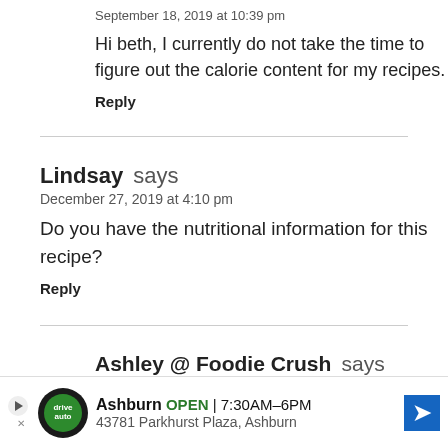September 18, 2019 at 10:39 pm
Hi beth, I currently do not take the time to figure out the calorie content for my recipes.
Reply
Lindsay says
December 27, 2019 at 4:10 pm
Do you have the nutritional information for this recipe?
Reply
Ashley @ Foodie Crush says
[Figure (infographic): Advertisement banner: Driveway Auto - Ashburn OPEN 7:30AM-6PM, 43781 Parkhurst Plaza, Ashburn, with green circular logo and blue arrow icon]